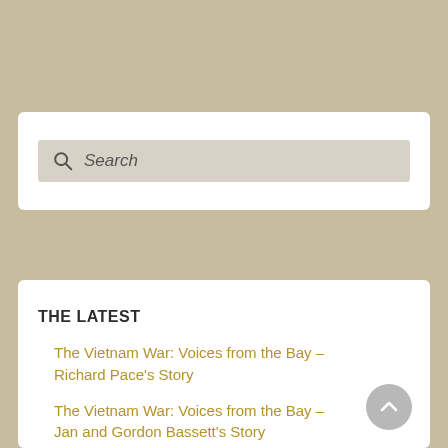[Figure (screenshot): Search box with magnifying glass icon and italic 'Search' placeholder text on a light grey background]
THE LATEST
The Vietnam War: Voices from the Bay – Richard Pace's Story
The Vietnam War: Voices from the Bay – Jan and Gordon Bassett's Story